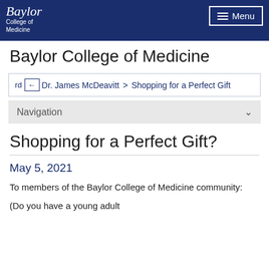Baylor College of Medicine | Menu
Baylor College of Medicine
rd ← Dr. James McDeavitt > Shopping for a Perfect Gift
Navigation
Shopping for a Perfect Gift?
May 5, 2021
To members of the Baylor College of Medicine community:
(Do you have a young adult